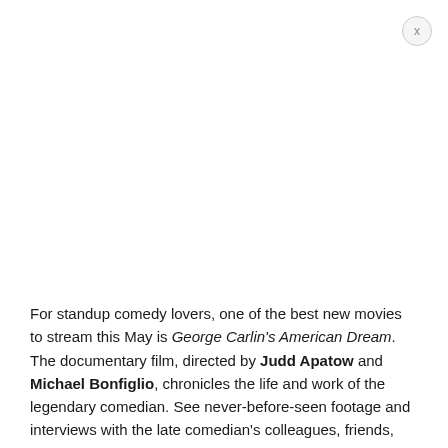For standup comedy lovers, one of the best new movies to stream this May is George Carlin's American Dream. The documentary film, directed by Judd Apatow and Michael Bonfiglio, chronicles the life and work of the legendary comedian. See never-before-seen footage and interviews with the late comedian's colleagues, friends, and family. No hard date has been published for this release but HBO Max has confirmed that it will be in May.